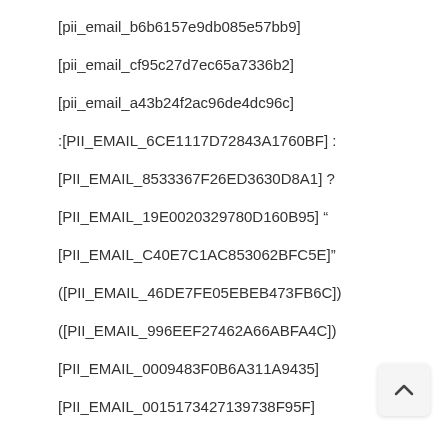[pii_email_b6b6157e9db085e57bb9]
[pii_email_cf95c27d7ec65a7336b2]
[pii_email_a43b24f2ac96de4dc96c]
:[PII_EMAIL_6CE1117D72843A1760BF] :
[PII_EMAIL_8533367F26ED3630D8A1] ?
[PII_EMAIL_19E0020329780D160B95] “
[PII_EMAIL_C40E7C1AC853062BFC5E]”
([PII_EMAIL_46DE7FE05EBEB473FB6C])
([PII_EMAIL_996EEF27462A66ABFA4C])
[PII_EMAIL_0009483F0B6A311A9435]
[PII_EMAIL_0015173427139738F95F]